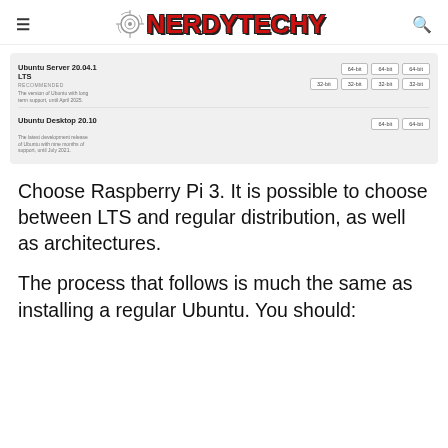≡ NERDYTECHY 🔍
[Figure (screenshot): Ubuntu download page screenshot showing Ubuntu Server 20.04.1 LTS (RECOMMENDED) with 64-bit and 32-bit buttons across columns, and Ubuntu Desktop 20.10 with 64-bit buttons.]
Choose Raspberry Pi 3. It is possible to choose between LTS and regular distribution, as well as architectures.
The process that follows is much the same as installing a regular Ubuntu. You should: